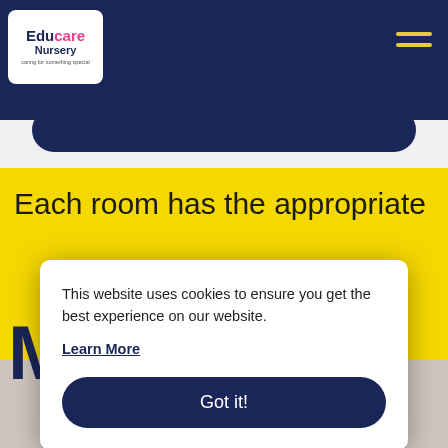[Figure (screenshot): Educare Nursery website header with dark navy background, logo in top left, and hamburger menu icon in top right]
Each room has the appropriate
[Figure (photo): Photo of a woman with glasses and hair pulled back, partially visible at bottom of page]
This website uses cookies to ensure you get the best experience on our website.
Learn More
Got it!